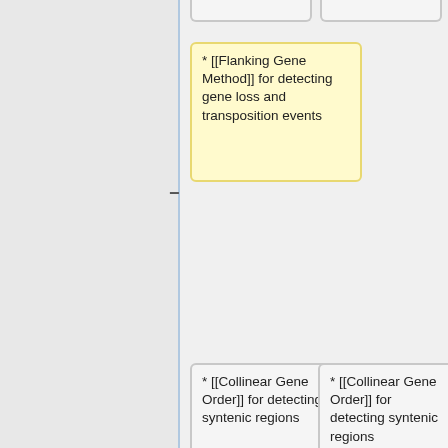[Figure (flowchart): Flowchart diagram showing wiki-style linked nodes for bioinformatics methods. Contains multiple boxes: a yellow highlighted box for Flanking Gene Method (for detecting gene loss and transposition events), gray boxes for Collinear Gene Order (for detecting syntenic regions) appearing twice, a blue highlighted box for Flanking Gene Method (for detecting gene loss and transposition events), and partially visible gray boxes for Useful divergence (for comparing genomic regions) at the bottom. Vertical blue line acts as a central connector axis with minus and plus connector symbols.]